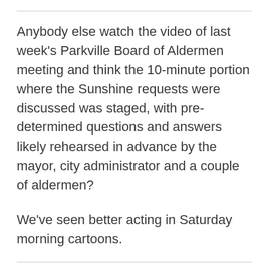Anybody else watch the video of last week's Parkville Board of Aldermen meeting and think the 10-minute portion where the Sunshine requests were discussed was staged, with pre-determined questions and answers likely rehearsed in advance by the mayor, city administrator and a couple of aldermen?
We've seen better acting in Saturday morning cartoons.
Speaking of interesting, in a bizarre timing of events the three-member board of the Central Platte Fire District is down to one living member. No quorum means the board can't meet to approve the paying of bills, payroll, etc. so the district's legal counsel has filed a motion for that action to be approved by the circuit court.And the circuit court will be officially appointing qualified applicants to fill the two